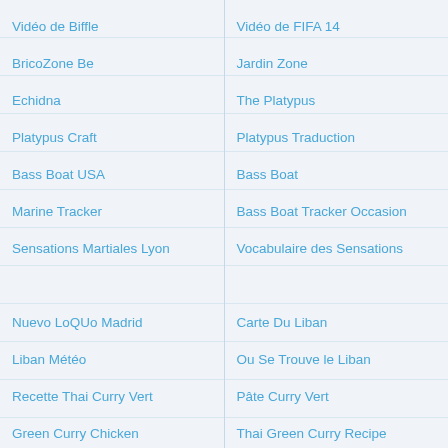Vidéo de Biffle
BricoZone Be
Echidna
Platypus Craft
Bass Boat USA
Marine Tracker
Sensations Martiales Lyon
Nuevo LoQUo Madrid
Liban Météo
Recette Thai Curry Vert
Green Curry Chicken
Simple Minds Wikipedia
YouTube Simple Minds
Sun TV Tamil Serial
Boutique Du GIGN
Actualité sur le GIGN
Hotpoint NMBL 1922 CVW Ha
Vidéo de FIFA 14
Jardin Zone
The Platypus
Platypus Traduction
Bass Boat
Bass Boat Tracker Occasion
Vocabulaire des Sensations
Carte Du Liban
Ou Se Trouve le Liban
Pâte Curry Vert
Thai Green Curry Recipe
Simple Minds Mandela
Cassiope Fashion Minds
Tamil TV Serials List
Malinois GIGN
GIGN Formation
Hotpoint NMBL 1921 CVW Ha